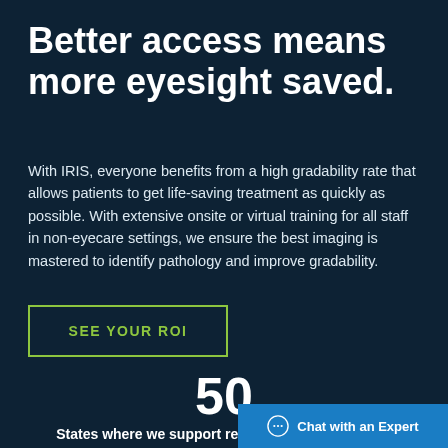Better access means more eyesight saved.
With IRIS, everyone benefits from a high gradability rate that allows patients to get life-saving treatment as quickly as possible. With extensive onsite or virtual training for all staff in non-eyecare settings, we ensure the best imaging is mastered to identify pathology and improve gradability.
SEE YOUR ROI
50
States where we support remote
Chat with an Expert